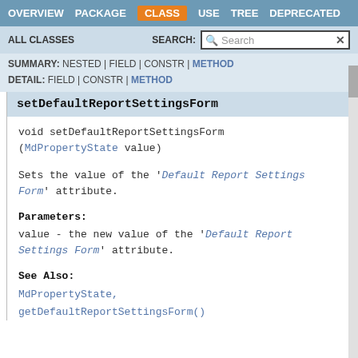OVERVIEW  PACKAGE  CLASS  USE  TREE  DEPRECATED
ALL CLASSES    SEARCH:
SUMMARY: NESTED | FIELD | CONSTR | METHOD
DETAIL: FIELD | CONSTR | METHOD
setDefaultReportSettingsForm
void setDefaultReportSettingsForm
(MdPropertyState value)
Sets the value of the 'Default Report Settings Form' attribute.
Parameters:
value - the new value of the 'Default Report Settings Form' attribute.
See Also:
MdPropertyState,
getDefaultReportSettingsForm()